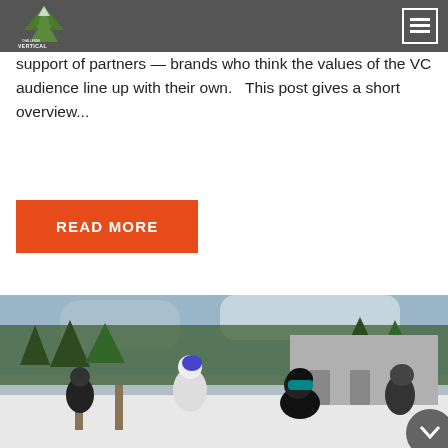Vertical Challenge — navigation header with logo and menu button
support of partners — brands who think the values of the VC audience line up with their own.   This post gives a short overview...
READ MORE
[Figure (photo): Snowboarders and skiers standing near a rail feature at a ski park. People dressed in winter gear, trees and a building structure visible in the background, winter/snow setting.]